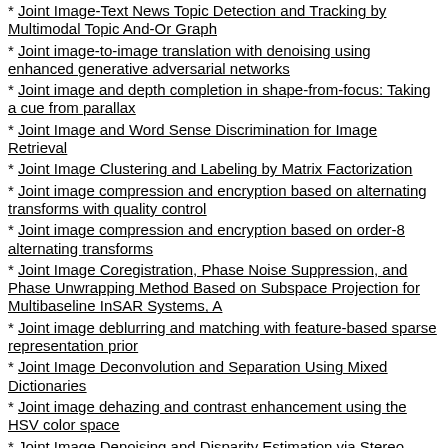Joint Image-Text News Topic Detection and Tracking by Multimodal Topic And-Or Graph
Joint image-to-image translation with denoising using enhanced generative adversarial networks
Joint image and depth completion in shape-from-focus: Taking a cue from parallax
Joint Image and Word Sense Discrimination for Image Retrieval
Joint Image Clustering and Labeling by Matrix Factorization
Joint image compression and encryption based on alternating transforms with quality control
Joint image compression and encryption based on order-8 alternating transforms
Joint Image Coregistration, Phase Noise Suppression, and Phase Unwrapping Method Based on Subspace Projection for Multibaseline InSAR Systems, A
Joint image deblurring and matching with feature-based sparse representation prior
Joint Image Deconvolution and Separation Using Mixed Dictionaries
Joint image dehazing and contrast enhancement using the HSV color space
Joint Image Denoising and Disparity Estimation via Stereo Structure PCA and Noise-Tolerant Cost
Joint image denoising using self-similarity based low-rank approximations